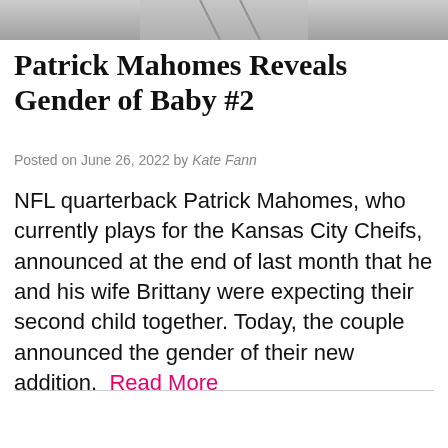[Figure (photo): Cropped bottom portion of a photo showing two people, visible from approximately waist down, standing on a light-colored floor surface.]
Patrick Mahomes Reveals Gender of Baby #2
Posted on June 26, 2022 by Kate Fann
NFL quarterback Patrick Mahomes, who currently plays for the Kansas City Cheifs, announced at the end of last month that he and his wife Brittany were expecting their second child together. Today, the couple announced the gender of their new addition. Read More